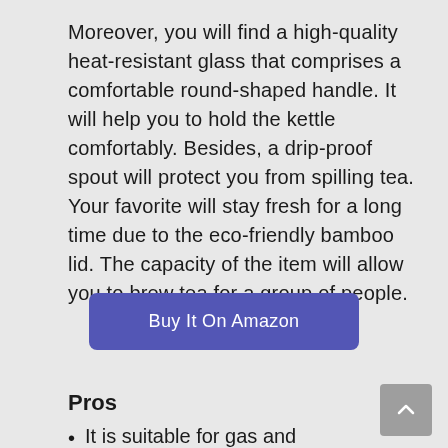Moreover, you will find a high-quality heat-resistant glass that comprises a comfortable round-shaped handle. It will help you to hold the kettle comfortably. Besides, a drip-proof spout will protect you from spilling tea. Your favorite will stay fresh for a long time due to the eco-friendly bamboo lid. The capacity of the item will allow you to brew tea for a group of people.
[Figure (other): Blue/purple rounded rectangle button with text 'Buy It On Amazon']
Pros
It is suitable for gas and electric stovetops.